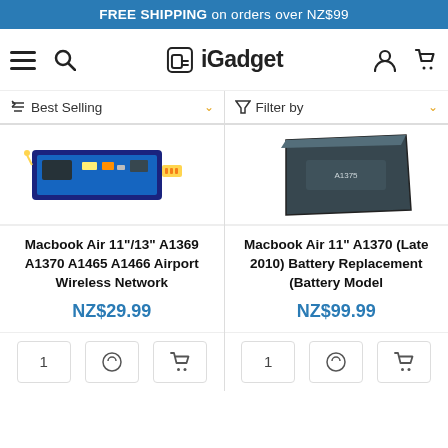FREE SHIPPING on orders over NZ$99
[Figure (logo): iGadget logo with hamburger menu, search, account and cart icons in navigation bar]
Best Selling | Filter by
[Figure (photo): Macbook Air Airport Wireless Network card (blue circuit board with antenna)]
[Figure (photo): Macbook Air A1370 battery replacement (black triangular battery)]
Macbook Air 11"/13" A1369 A1370 A1465 A1466 Airport Wireless Network
NZ$29.99
Macbook Air 11" A1370 (Late 2010) Battery Replacement (Battery Model
NZ$99.99